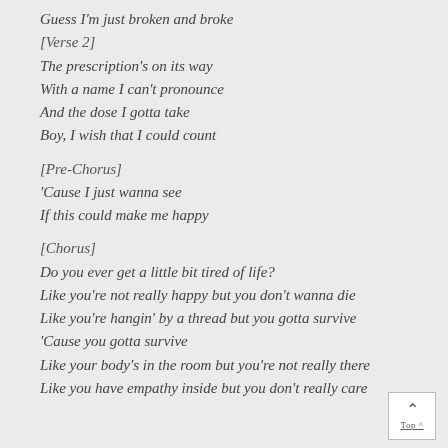Guess I'm just broken and broke
[Verse 2]
The prescription's on its way
With a name I can't pronounce
And the dose I gotta take
Boy, I wish that I could count

[Pre-Chorus]
'Cause I just wanna see
If this could make me happy

[Chorus]
Do you ever get a little bit tired of life?
Like you're not really happy but you don't wanna die
Like you're hangin' by a thread but you gotta survive
'Cause you gotta survive
Like your body's in the room but you're not really there
Like you have empathy inside but you don't really care